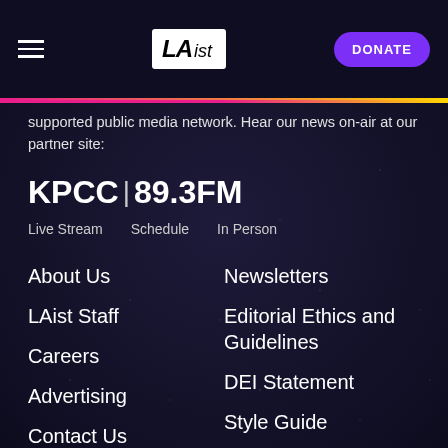LAist | DONATE
supported public media network. Hear our news on-air at our partner site:
KPCC | 89.3FM
Live Stream
Schedule
In Person
About Us
Newsletters
LAist Staff
Editorial Ethics and Guidelines
Careers
DEI Statement
Advertising
Style Guide
Contact Us
Diversity Report
Support Us